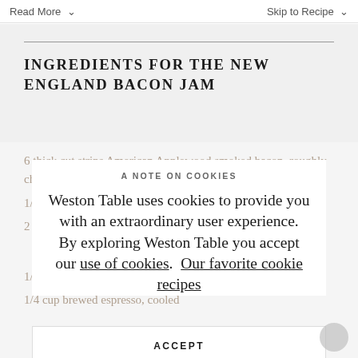Read More  Skip to Recipe
INGREDIENTS FOR THE NEW ENGLAND BACON JAM
6 thick cut strips American Applewood smoked bacon, roughly chopped
A NOTE ON COOKIES
Weston Table uses cookies to provide you with an extraordinary user experience. By exploring Weston Table you accept our use of cookies.  Our favorite cookie recipes
ACCEPT
1/2 cup apple cider vinegar
1/4 cup brewed espresso, cooled